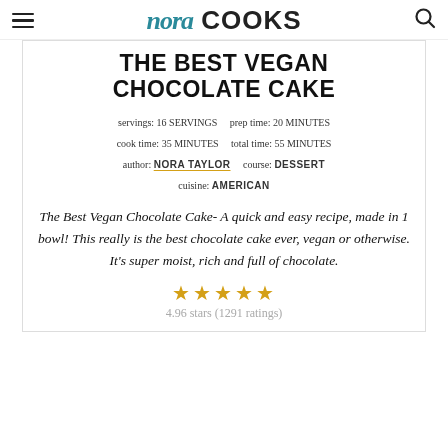nora COOKS
THE BEST VEGAN CHOCOLATE CAKE
servings: 16 SERVINGS   prep time: 20 MINUTES   cook time: 35 MINUTES   total time: 55 MINUTES   author: NORA TAYLOR   course: DESSERT   cuisine: AMERICAN
The Best Vegan Chocolate Cake- A quick and easy recipe, made in 1 bowl! This really is the best chocolate cake ever, vegan or otherwise. It's super moist, rich and full of chocolate.
4.96 stars (1291 ratings)